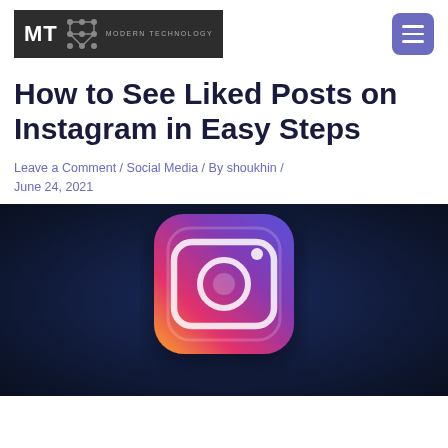MT (Modern Technology logo) with hamburger menu
How to See Liked Posts on Instagram in Easy Steps
Leave a Comment / Social Media / By shoukhin / June 24, 2021
[Figure (photo): 3D Instagram app icon on dark navy background — rounded square icon with gradient camera symbol in pink-orange-purple gradient colors]